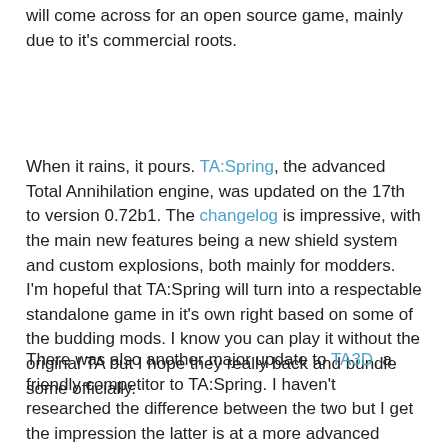will come across for an open source game, mainly due to it's commercial roots.
When it rains, it pours. TA:Spring, the advanced Total Annihilation engine, was updated on the 17th to version 0.72b1. The changelog is impressive, with the main new features being a new shield system and custom explosions, both mainly for modders. I'm hopeful that TA:Spring will turn into a respectable standalone game in it's own right based on some of the budding mods. I know you can play it without the original TA but I hope they really back and bundle some officially.
There was also another major update to TA3D, a friendly competitor to TA:Spring. I haven't researched the difference between the two but I get the impression the latter is at a more advanced stage of development.